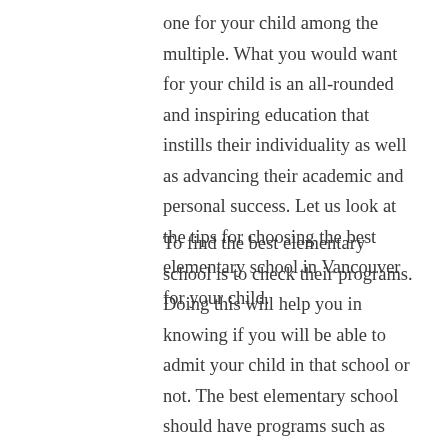one for your child among the multiple. What you would want for your child is an all-rounded and inspiring education that instills their individuality as well as advancing their academic and personal success. Let us look at the tips for choosing the best elementary school in Vancouver for your child.
To find the best elementary school is to check their programs. Doing this will help you in knowing if you will be able to admit your child in that school or not. The best elementary school should have programs such as early year's program, primary program, intermediate program, before and after school care among others. There are also other programs such as progressive learning,